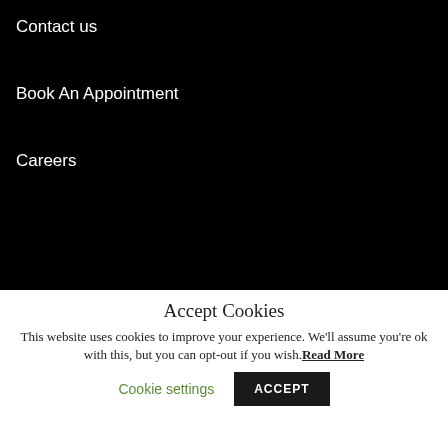Contact us
Book An Appointment
Careers
Accept Cookies
This website uses cookies to improve your experience. We'll assume you're ok with this, but you can opt-out if you wish. Read More
Cookie settings
ACCEPT